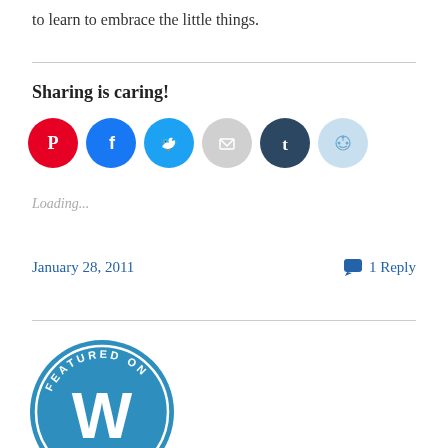to learn to embrace the little things.
Sharing is caring!
[Figure (infographic): Social sharing icons: Pinterest (red), Facebook (blue), Twitter (cyan), Email (gray), Tumblr (dark navy), Reddit (light blue)]
Loading...
January 28, 2011
1 Reply
[Figure (logo): Featured on WordPress circular badge in teal/blue with white WordPress W logo and heart icons]